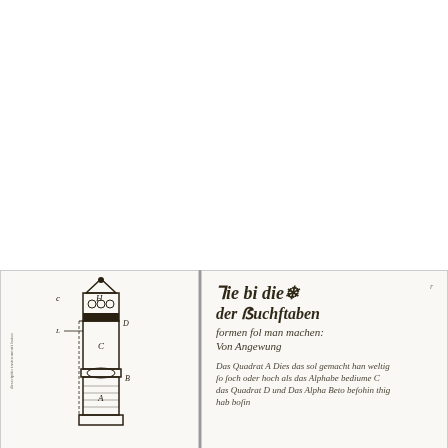[Figure (illustration): Historical engineering diagram showing a vertical cross-section of a mechanical device (possibly a pump or instrument), with labels A, B, C, H, D marked at various points. The device has a pointed top, ornamental middle section, and cylindrical base. Handwritten labels in old German script appear along the left side.]
[Figure (illustration): Page of old German handwritten manuscript text in Gothic/Blackletter script. The text appears to be a historical document or instruction manual, with decorative heading. The title reads something like 'Wie die Pracia der Buchstaben...' with additional lines of cursive Gothic text below.]